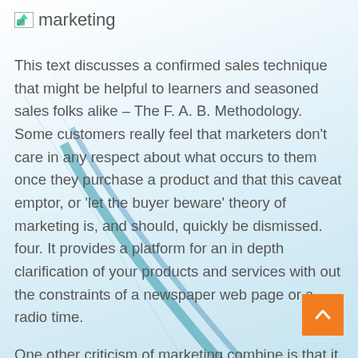[Figure (logo): Marketing logo placeholder image with text 'marketing']
This text discusses a confirmed sales technique that might be helpful to learners and seasoned sales folks alike – The F. A. B. Methodology. Some customers really feel that marketers don't care in any respect about what occurs to them once they purchase a product and that this caveat emptor, or 'let the buyer beware' theory of marketing is, and should, quickly be dismissed. four. It provides a platform for an in depth clarification of your products and services with out the constraints of a newspaper web page or a radio time.
One other criticism of marketing combine is that it doesn't discuss customers. The downside to blanket marketing is that it can be fairly costly, and you might be losing cash marketing to